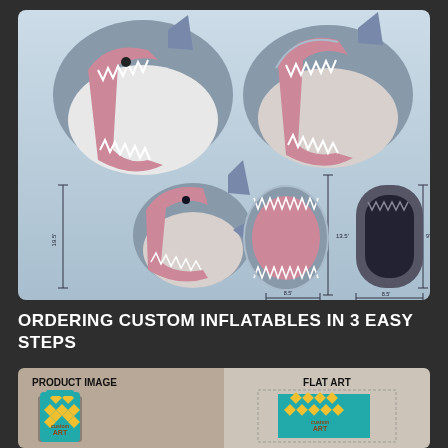[Figure (illustration): Engineering/design diagram of a custom inflatable shark tunnel/entrance. Top row shows two 3D perspective views of an open shark mouth inflatable from different angles. Bottom row shows three technical views: side view with height dimension (19.5'), front view with dimensions (8.5' width, 13.5' height?), and rear/back view with dimension (8.5' width). Inflatable is designed as a walk-through shark mouth tunnel.]
ORDERING CUSTOM INFLATABLES IN 3 EASY STEPS
[Figure (infographic): Bottom section showing step process for ordering custom inflatables. Left panel with tan/beige background shows 'PRODUCT IMAGE' label with a custom art bag/package with teal and yellow geometric pattern design and 'custom ART' text. Right panel with lighter background shows 'FLAT ART' label with the same teal and yellow geometric pattern art shown as flat artwork.]